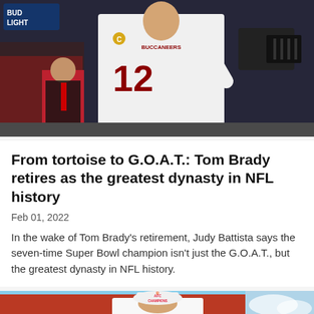[Figure (photo): Football player wearing Tampa Bay Buccaneers #12 jersey (Tom Brady) waving to crowd in an arena with cameras and staff visible]
From tortoise to G.O.A.T.: Tom Brady retires as the greatest dynasty in NFL history
Feb 01, 2022
In the wake of Tom Brady's retirement, Judy Battista says the seven-time Super Bowl champion isn't just the G.O.A.T., but the greatest dynasty in NFL history.
[Figure (photo): Person wearing a Bengals AFC Champions hat and white jersey, stadium with red seats visible in background]